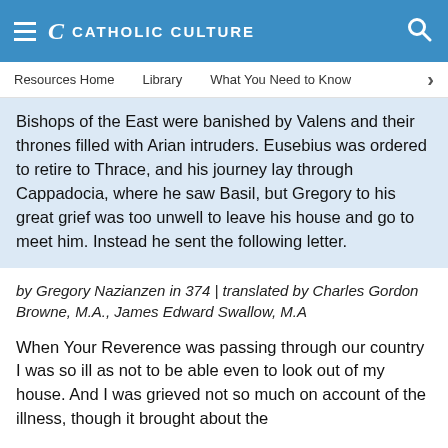CATHOLIC CULTURE
Resources Home | Library | What You Need to Know
Bishops of the East were banished by Valens and their thrones filled with Arian intruders. Eusebius was ordered to retire to Thrace, and his journey lay through Cappadocia, where he saw Basil, but Gregory to his great grief was too unwell to leave his house and go to meet him. Instead he sent the following letter.
by Gregory Nazianzen in 374 | translated by Charles Gordon Browne, M.A., James Edward Swallow, M.A
When Your Reverence was passing through our country I was so ill as not to be able even to look out of my house. And I was grieved not so much on account of the illness, though it brought about the